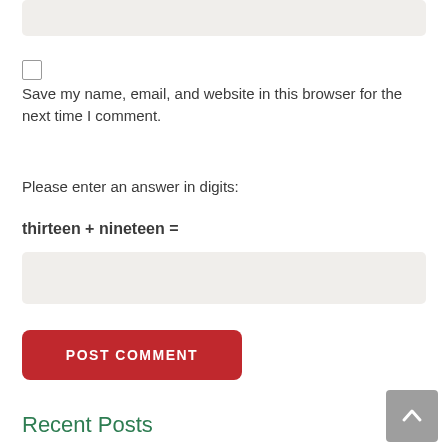[textarea input box]
Save my name, email, and website in this browser for the next time I comment.
Please enter an answer in digits:
thirteen + nineteen =
[answer input box]
POST COMMENT
Recent Posts